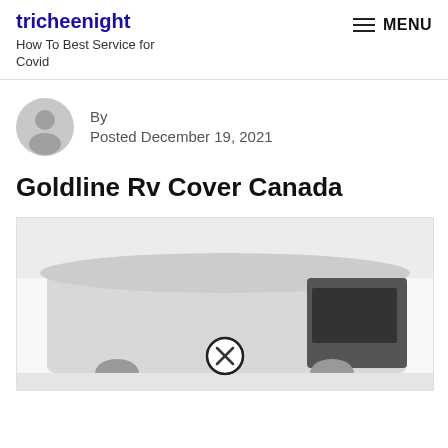tricheenight
How To Best Service for Covid
By
Posted December 19, 2021
Goldline Rv Cover Canada
[Figure (photo): Photo of an RV covered with a gray cover, with a circular close/cancel icon overlay visible in the lower center of the image]